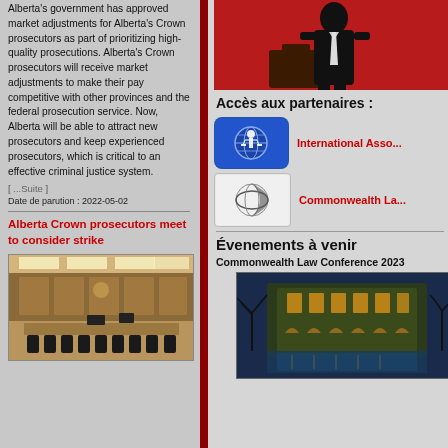Alberta's government has approved market adjustments for Alberta's Crown prosecutors as part of prioritizing high-quality prosecutions. Alberta's Crown prosecutors will receive market adjustments to make their pay competitive with other provinces and the federal prosecution service. Now, Alberta will be able to attract new prosecutors and keep experienced prosecutors, which is critical to an effective criminal justice system.
[ ...Suite ]
Date de parution : 2022-05-02
Alberta Crown prosecutors meet to consider strike
[Figure (photo): Interior of a courtroom with wooden furniture, chairs, and overhead lighting]
[Figure (photo): Silhouette of a lawyer/prosecutor figure on red background holding a briefcase]
Accès aux partenaires :
[Figure (logo): International Association logo - blue rounded rectangle with justice scale and globe]
International Asso...
[Figure (logo): Commonwealth Law logo - white background with crescent/globe symbol]
Commonwealth La...
Évenements à venir
Commonwealth Law Conference 2023
[Figure (photo): Night view of an illuminated building with pool, likely conference venue]